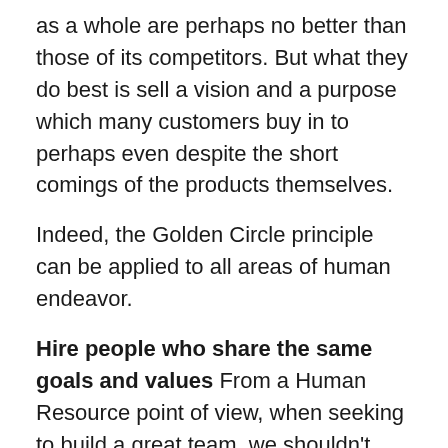as a whole are perhaps no better than those of its competitors. But what they do best is sell a vision and a purpose which many customers buy in to perhaps even despite the short comings of the products themselves.
Indeed, the Golden Circle principle can be applied to all areas of human endeavor.
Hire people who share the same goals and values
From a Human Resource point of view, when seeking to build a great team, we shouldn't simply seek to hire people who can simply do the job. As Sinek says, attracting people who want to work for the paycheck is not enough. We must seek to attract people who believe what we believe, who share and identify with the goals and values of the organization because only those who share the same goals and values will go beyond the simple